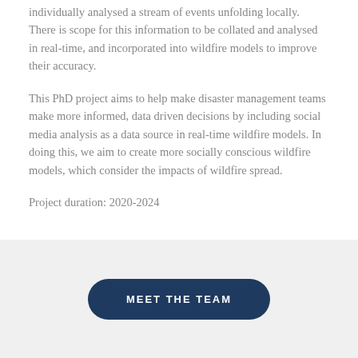individually analysed a stream of events unfolding locally. There is scope for this information to be collated and analysed in real-time, and incorporated into wildfire models to improve their accuracy.
This PhD project aims to help make disaster management teams make more informed, data driven decisions by including social media analysis as a data source in real-time wildfire models. In doing this, we aim to create more socially conscious wildfire models, which consider the impacts of wildfire spread.
Project duration: 2020-2024
[Figure (other): A dark navy blue rounded button with white uppercase text reading MEET THE TEAM, centered on a light grey background section.]